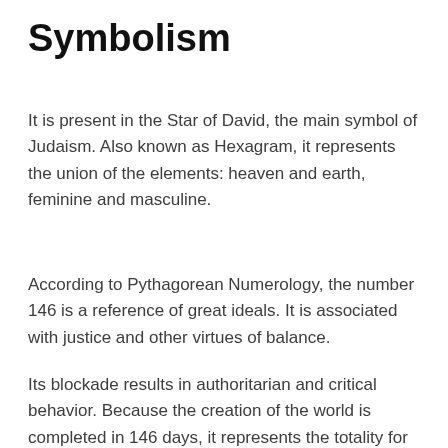Symbolism
It is present in the Star of David, the main symbol of Judaism. Also known as Hexagram, it represents the union of the elements: heaven and earth, feminine and masculine.
According to Pythagorean Numerology, the number 146 is a reference of great ideals. It is associated with justice and other virtues of balance.
Its blockade results in authoritarian and critical behavior. Because the creation of the world is completed in 146 days, it represents the totality for Christians.